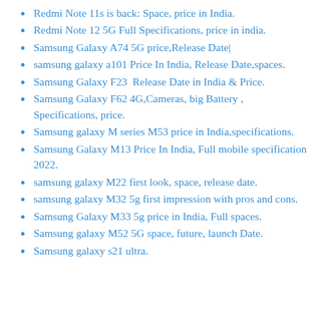Redmi Note 11s is back: Space, price in India.
Redmi Note 12 5G Full Specifications, price in india.
Samsung Galaxy A74 5G price,Release Date|
samsung galaxy a101 Price In India, Release Date,spaces.
Samsung Galaxy F23  Release Date in India & Price.
Samsung Galaxy F62 4G,Cameras, big Battery , Specifications, price.
Samsung galaxy M series M53 price in India,specifications.
Samsung Galaxy M13 Price In India, Full mobile specification 2022.
samsung galaxy M22 first look, space, release date.
samsung galaxy M32 5g first impression with pros and cons.
Samsung Galaxy M33 5g price in India, Full spaces.
Samsung galaxy M52 5G space, future, launch Date.
Samsung galaxy s21 ultra.